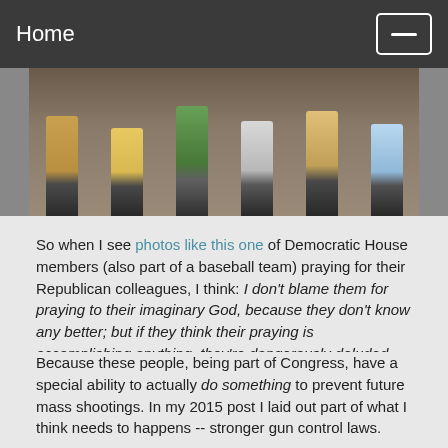Home
[Figure (photo): Photo showing the lower bodies and legs of several people standing together, cropped so only legs and feet are visible against a blurred outdoor background.]
So when I see photos like this one of Democratic House members (also part of a baseball team) praying for their Republican colleagues, I think: I don't blame them for praying to their imaginary God, because they don't know any better; but if they think their praying is accomplishing anything, they're dangerously deluded.
Why do I say "dangerously deluded" rather than just "deluded"?
Because these people, being part of Congress, have a special ability to actually do something to prevent future mass shootings. In my 2015 post I laid out part of what I think needs to happens -- stronger gun control laws.
However, I realize that opinions differ about how to deal with the fact that the United States has way more gun deaths than any other advanced country (we also have way more guns). So I'm fine with lawmakers doing